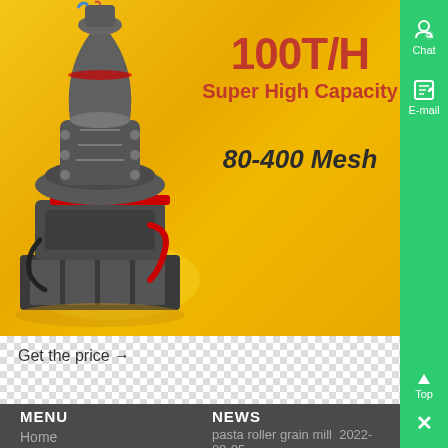[Figure (photo): Industrial grinding mill machine on yellow/orange background with text overlay: 100T/H Super High Capacity, 80-400 Mesh]
Get the price →
MENU
Home
NEWS
pasta roller grain mill  2022-09-05